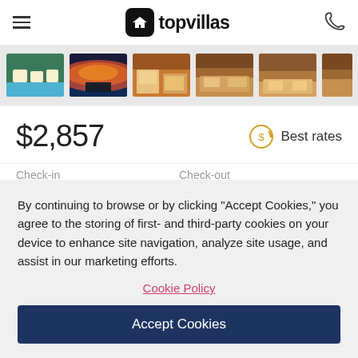[Figure (logo): TopVillas logo with hamburger menu and phone icon in header]
[Figure (photo): Gallery strip showing 6 villa thumbnail photos]
$2,857
Best rates
By continuing to browse or by clicking “Accept Cookies,” you agree to the storing of first- and third-party cookies on your device to enhance site navigation, analyze site usage, and assist in our marketing efforts.
Cookie Policy
Accept Cookies